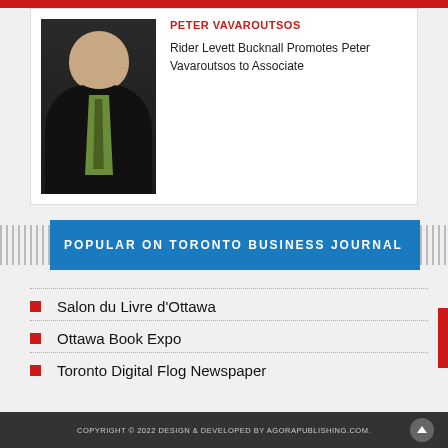[Figure (photo): Professional headshot of Peter Vavaroutsos, a man in a dark suit with a green shirt and tie, smiling against a dark background.]
PETER VAVAROUTSOS
Rider Levett Bucknall Promotes Peter Vavaroutsos to Associate
POPULAR ON TORONTO BUSINESS JOURNAL
Salon du Livre d'Ottawa
Ottawa Book Expo
Toronto Digital Flog Newspaper
COPYRIGHT © 2022 DESIGN & DEVELOPED BY AGORAPUBLISHING.COM.